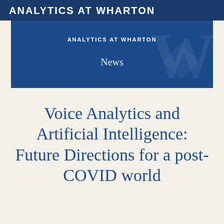ANALYTICS AT WHARTON
[Figure (illustration): Dark blue banner with 'ANALYTICS AT WHARTON' heading and 'News' subheading, with faint watermark logo in background]
Voice Analytics and Artificial Intelligence: Future Directions for a post-COVID world